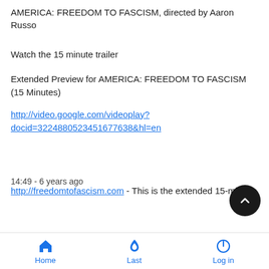AMERICA: FREEDOM TO FASCISM, directed by Aaron Russo
Watch the 15 minute trailer
Extended Preview for AMERICA: FREEDOM TO FASCISM (15 Minutes)
http://video.google.com/videoplay?docid=3224880523451677638&hl=en
14:49 - 6 years ago
http://freedomtofascism.com - This is the extended 15-minute
Home  Last  Log in